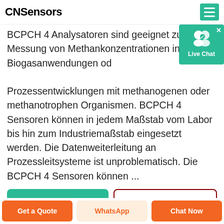CNSensors
BCPCH 4 Analysatoren sind geeignet zur Messung von Methankonzentrationen in Biogasanwendungen od Prozessentwicklungen mit methanogenen oder methanotrophen Organismen. BCPCH 4 Sensoren können in jedem Maßstab vom Labor bis hin zum Industriemaßstab eingesetzt werden. Die Datenweiterleitung an Prozessleitsysteme ist unproblematisch. Die BCPCH 4 Sensoren können ...
[Figure (screenshot): Live Chat widget button]
OBTENHA O PREÇO
WHATSAPP
Get a Quote | WhatsApp | Chat Now